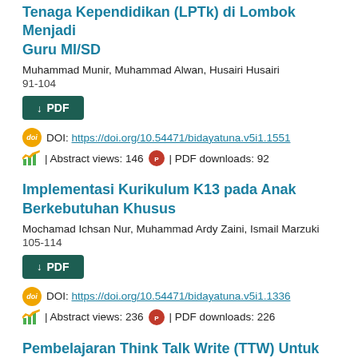Tenaga Kependidikan (LPTk) di Lombok Menjadi Guru MI/SD
Muhammad Munir, Muhammad Alwan, Husairi Husairi
91-104
PDF
DOI: https://doi.org/10.54471/bidayatuna.v5i1.1551
| Abstract views: 146 | PDF downloads: 92
Implementasi Kurikulum K13 pada Anak Berkebutuhan Khusus
Mochamad Ichsan Nur, Muhammad Ardy Zaini, Ismail Marzuki
105-114
PDF
DOI: https://doi.org/10.54471/bidayatuna.v5i1.1336
| Abstract views: 236 | PDF downloads: 226
Pembelajaran Think Talk Write (TTW) Untuk Meningkatkan Motivasi Belajar Siswa